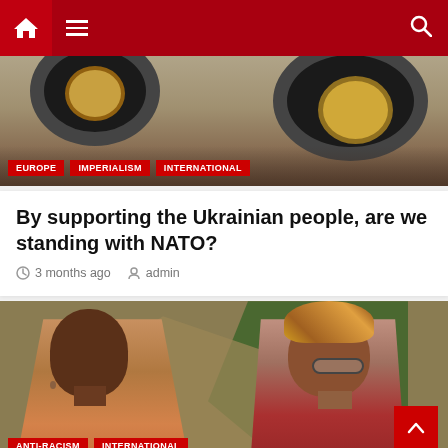Navigation bar with home, menu, and search icons
[Figure (photo): Close-up of heavy vehicle tires on a dirt road. Tags: EUROPE, IMPERIALISM, INTERNATIONAL]
By supporting the Ukrainian people, are we standing with NATO?
3 months ago  admin
[Figure (photo): Two women on a stylized background with geometric shapes. Tags: ANTI-RACISM, INTERNATIONAL, LATIN AMERICA AND THE CARIBBEAN]